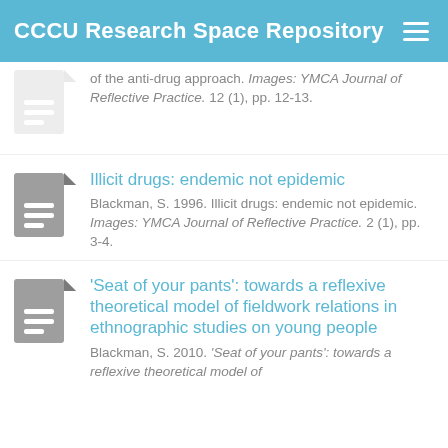CCCU Research Space Repository
of the anti-drug approach. Images: YMCA Journal of Reflective Practice. 12 (1), pp. 12-13.
Illicit drugs: endemic not epidemic
Blackman, S. 1996. Illicit drugs: endemic not epidemic. Images: YMCA Journal of Reflective Practice. 2 (1), pp. 3-4.
'Seat of your pants': towards a reflexive theoretical model of fieldwork relations in ethnographic studies on young people
Blackman, S. 2010. 'Seat of your pants': towards a reflexive theoretical model of